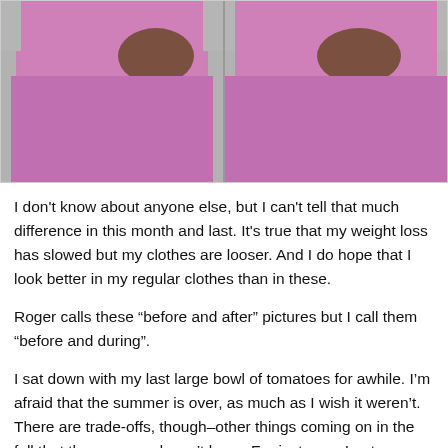[Figure (photo): Two side-by-side photos of a person wearing pink/mauve tight clothing, showing a before and during weight loss comparison. The person's torso and lower body are visible, wearing a pink top and pink pants.]
I don't know about anyone else, but I can't tell that much difference in this month and last. It's true that my weight loss has slowed but my clothes are looser. And I do hope that I look better in my regular clothes than in these.
Roger calls these “before and after” pictures but I call them “before and during”.
I sat down with my last large bowl of tomatoes for awhile. I’m afraid that the summer is over, as much as I wish it weren’t. There are trade-offs, though–other things coming on in the fall that the summer doesn’t have. For instance, I got some persimmons the other day. They are the largest I’ve ever bought and the one on the left is almost ready to eat. The one on the front right is shaped like the native persimmons in this part of the country but it would take at least six of